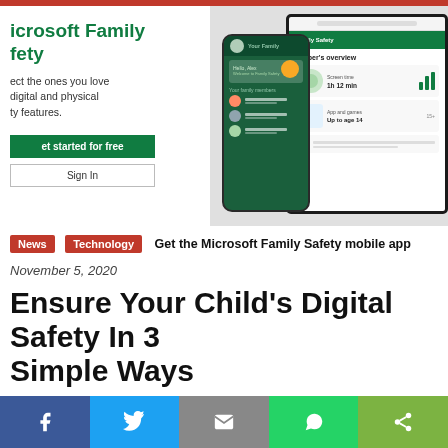[Figure (screenshot): Microsoft Family Safety app screenshot showing phone and tablet interfaces with family member profiles, Kasper's overview, and app usage stats. Green branding with 'Get started for free' and 'Sign in' buttons. Partial text visible: 'icrosoft Family', 'fety', 'ect the ones you love', 'digital and physical', 'ty features.']
Get the Microsoft Family Safety mobile app
November 5, 2020
Ensure Your Child's Digital Safety In 3 Simple Ways
[Figure (infographic): Social sharing bar at the bottom with Facebook, Twitter, Email, WhatsApp, and Share buttons]